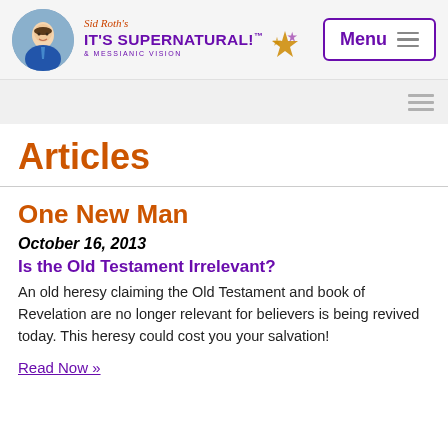[Figure (logo): Sid Roth's It's Supernatural! & Messianic Vision logo with circular avatar photo and star graphic, plus Menu button]
Sid Roth's IT'S SUPERNATURAL!™ & MESSIANIC VISION — Menu
Articles
One New Man
October 16, 2013
Is the Old Testament Irrelevant?
An old heresy claiming the Old Testament and book of Revelation are no longer relevant for believers is being revived today. This heresy could cost you your salvation!
Read Now »